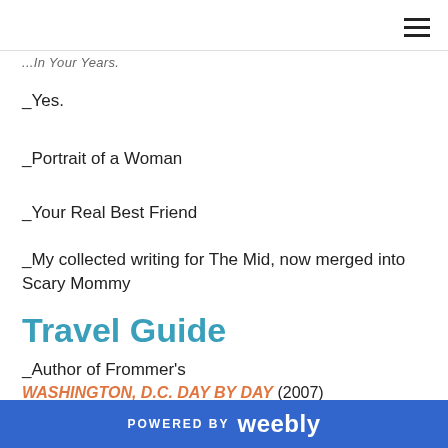...In Your Years.
_Yes.
_Portrait of a Woman
_Your Real Best Friend
_My collected writing for The Mid, now merged into Scary Mommy
Travel Guide
_Author of Frommer's
WASHINGTON, D.C. DAY BY DAY (2007)
POWERED BY weebly